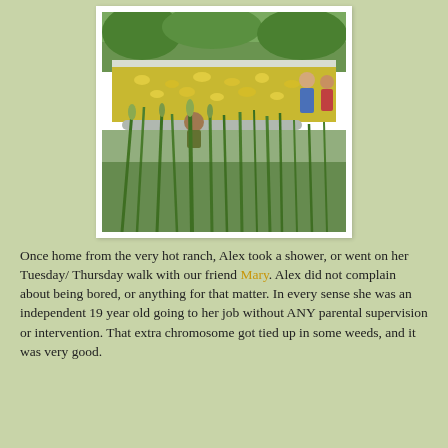[Figure (photo): Outdoor photo showing a pool or container filled with yellow rubber ducks, surrounded by tall green grass/weeds. A person is visible among the weeds near the pool, and two other people (in blue and red shirts) are standing on the far right. Trees and greenery are in the background.]
Once home from the very hot ranch, Alex took a shower, or went on her Tuesday/ Thursday walk with our friend Mary. Alex did not complain about being bored, or anything for that matter. In every sense she was an independent 19 year old going to her job without ANY parental supervision or intervention. That extra chromosome got tied up in some weeds, and it was very good.